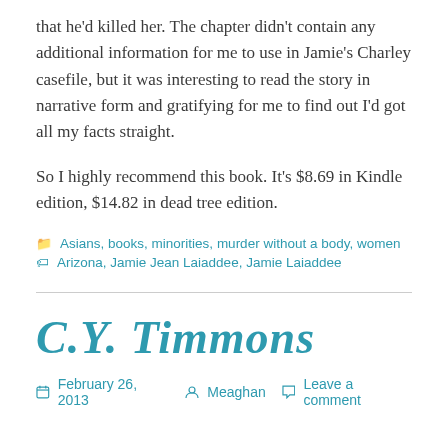that he'd killed her. The chapter didn't contain any additional information for me to use in Jamie's Charley casefile, but it was interesting to read the story in narrative form and gratifying for me to find out I'd got all my facts straight.
So I highly recommend this book. It's $8.69 in Kindle edition, $14.82 in dead tree edition.
Categories: Asians, books, minorities, murder without a body, women
Tags: Arizona, Jamie Jean Laiaddee, Jamie Laiaddee
C.Y. Timmons
February 26, 2013  Meaghan  Leave a comment